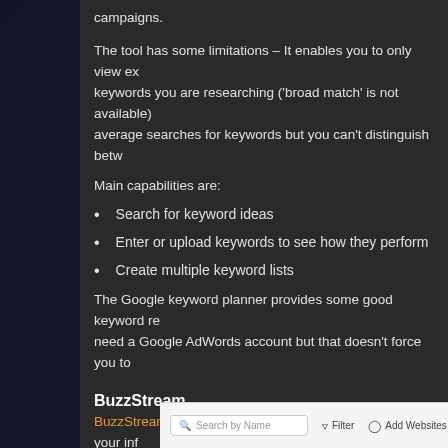campaigns.
The tool has some limitations – It enables you to only view ex... keywords you are researching ('broad match' is not available)... average searches for keywords but you can't distinguish betw...
Main capabilities are:
Search for keyword ideas
Enter or upload keywords to see how they perform
Create multiple keyword lists
The Google keyword planner provides some good keyword re... need a Google AdWords account but that doesn't force you to...
BuzzStream
BuzzStream is a great tool for tracking and managing your inf... efforts. Even though this tool offers some functionality to iden... and blogs, its main purpose is to help you manage your email...
[Figure (screenshot): BuzzStream toolbar showing search by name field, Filter button, Add Websites button, View in BuzzBar button, and another partially visible button]